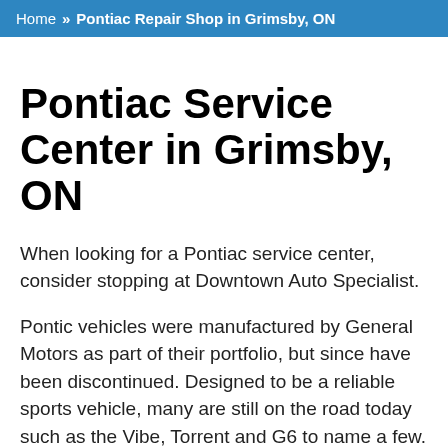Home >> Pontiac Repair Shop in Grimsby, ON
Pontiac Service Center in Grimsby, ON
When looking for a Pontiac service center, consider stopping at Downtown Auto Specialist.
Pontic vehicles were manufactured by General Motors as part of their portfolio, but since have been discontinued. Designed to be a reliable sports vehicle, many are still on the road today such as the Vibe, Torrent and G6 to name a few.